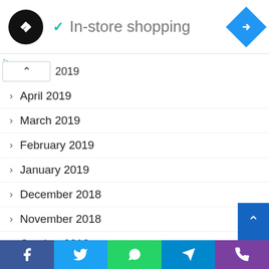In-store shopping
2019
April 2019
March 2019
February 2019
January 2019
December 2018
November 2018
October 2018
September 2018
August 2018
July 2018